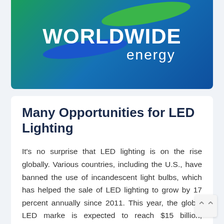[Figure (logo): Worldwide Energy company logo with swoosh graphics on a blue-green gradient banner background. Text reads WORLDWIDE energy in white.]
Many Opportunities for LED Lighting
It's no surprise that LED lighting is on the rise globally. Various countries, including the U.S., have banned the use of incandescent light bulbs, which has helped the sale of LED lighting to grow by 17 percent annually since 2011. This year, the global LED marke is expected to reach $15 billion, including replacement and [...]